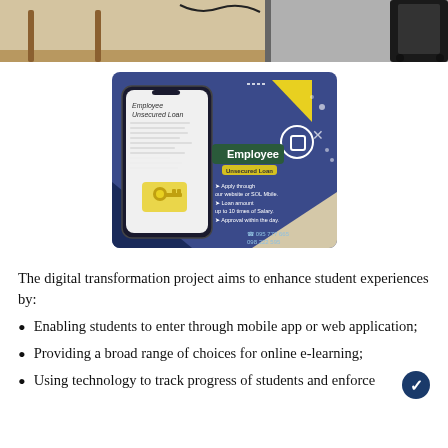[Figure (photo): Top portion of a photo showing a wooden table and a dark chair against a light background]
[Figure (infographic): Advertisement for Employee Unsecured Loan showing a smartphone with a loan application screen. Text reads: Employee, Unsecured Loan, Apply through our website or SOL Mbile, Loan amount up to 10 times of Salary, Approval within the day. Phone numbers: 095 777 665 and 098 222 595]
The digital transformation project aims to enhance student experiences by:
Enabling students to enter through mobile app or web application;
Providing a broad range of choices for online e-learning;
Using technology to track progress of students and enforce